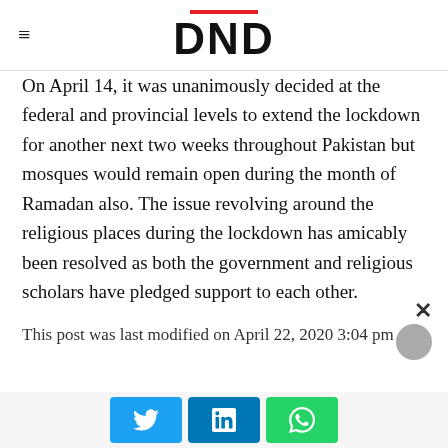DND
On April 14, it was unanimously decided at the federal and provincial levels to extend the lockdown for another next two weeks throughout Pakistan but mosques would remain open during the month of Ramadan also. The issue revolving around the religious places during the lockdown has amicably been resolved as both the government and religious scholars have pledged support to each other.
This post was last modified on April 22, 2020 3:04 pm